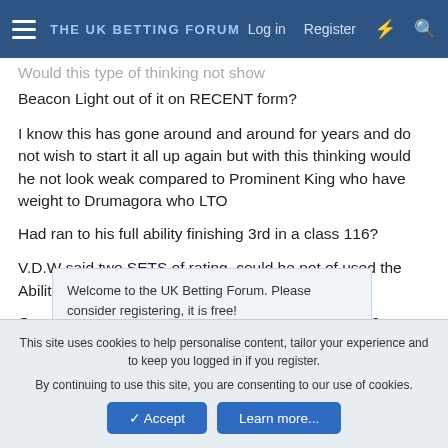THE UK BETTING FORUM | Log in | Register
Would this type of thinking not show
Beacon Light out of it on RECENT form?
I know this has gone around and around for years and do not wish to start it all up again but with this thinking would he not look weak compared to Prominent King who have weight to Drumagora who LTO
Had ran to his full ability finishing 3rd in a class 116?
V.D.W said two SETS of rating, could he not of used the Ability rating and the class rating twice?
Once on the individual horse then on the opposition?
Welcome to the UK Betting Forum. Please consider registering, it is free!
Lee said the two sets of rating were highlighted within V.D.Ws formula and were used in all the examples even through
This site uses cookies to help personalise content, tailor your experience and to keep you logged in if you register.
By continuing to use this site, you are consenting to our use of cookies.